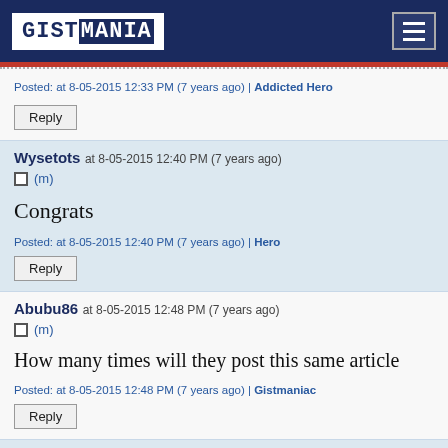GISTMANIA
Posted: at 8-05-2015 12:33 PM (7 years ago) | Addicted Hero
Reply
Wysetots at 8-05-2015 12:40 PM (7 years ago)
Congrats
Posted: at 8-05-2015 12:40 PM (7 years ago) | Hero
Reply
Abubu86 at 8-05-2015 12:48 PM (7 years ago)
How many times will they post this same article
Posted: at 8-05-2015 12:48 PM (7 years ago) | Gistmaniac
Reply
fredmill at 8-05-2015 01:01 PM (7 years ago)